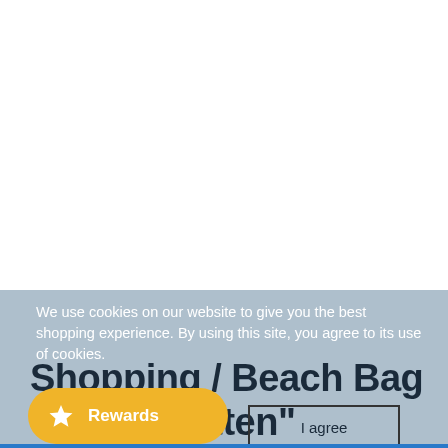[Figure (photo): White blank area representing a product or webpage image area]
We use cookies on our website to give you the best shopping experience. By using this site, you agree to its use of cookies.
Shopping / Beach Bag "Diego Cotten" (recycled sail)
Rewards
I agree